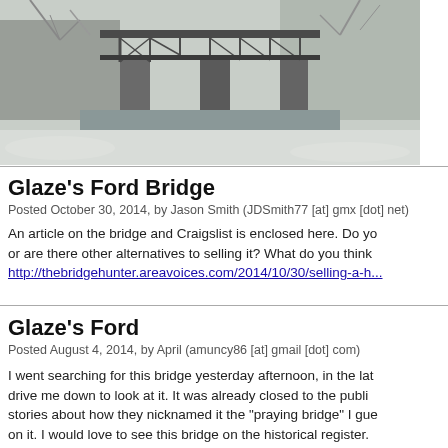[Figure (photo): Black and white or winter photo of Glaze's Ford Bridge, a historic metal truss bridge over a creek, surrounded by bare trees and snow-dusted banks]
Glaze's Ford Bridge
Posted October 30, 2014, by Jason Smith (JDSmith77 [at] gmx [dot] net)
An article on the bridge and Craigslist is enclosed here. Do you or are there other alternatives to selling it? What do you think? http://thebridgehunter.areavoices.com/2014/10/30/selling-a-h...
Glaze's Ford
Posted August 4, 2014, by April (amuncy86 [at] gmail [dot] com)
I went searching for this bridge yesterday afternoon, in the late drive me down to look at it. It was already closed to the public stories about how they nicknamed it the "praying bridge" I gue on it. I would love to see this bridge on the historical register.